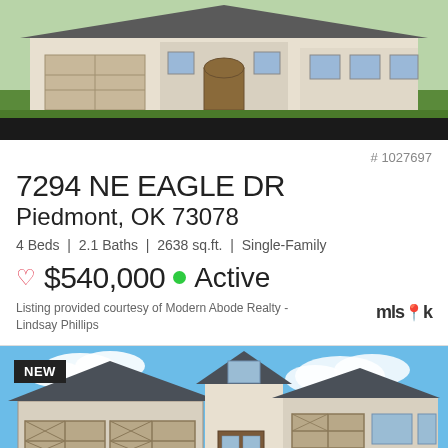[Figure (photo): Rendered front view of a single-story brick and siding house with attached garage, green lawn, and driveway]
# 1027697
7294 NE EAGLE DR
Piedmont, OK 73078
4 Beds | 2.1 Baths | 2638 sq.ft. | Single-Family
♡ $540,000 ● Active
Listing provided courtesy of Modern Abode Realty - Lindsay Phillips
[Figure (photo): NEW listing photo of a craftsman-style house with stone and siding exterior, two-car garage, blue sky background, green lawn]